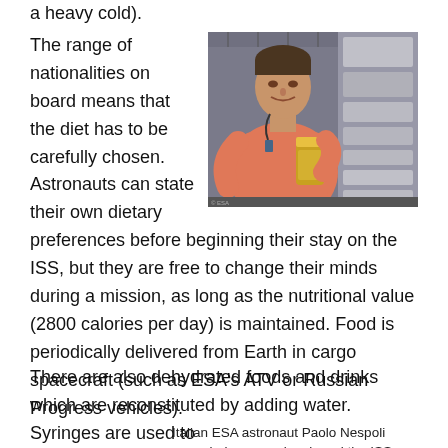a heavy cold).
The range of nationalities on board means that the diet has to be carefully chosen. Astronauts can state their own dietary preferences before beginning their stay on the ISS, but they are free to change their minds during a mission, as long as the nutritional value (2800 calories per day) is maintained. Food is periodically delivered from Earth in cargo spacecraft (such as ESA's ATV or Russian Progress vehicles).
[Figure (photo): Italian ESA astronaut Paolo Nespoli in an orange shirt, holding a food container, seen during a meal on board the ISS]
Italian ESA astronaut Paolo Nespoli seen during a meal on board the ISS Image courtesy of ESA
There are also dehydrated foods and drinks which are reconstituted by adding water. Syringes are used to